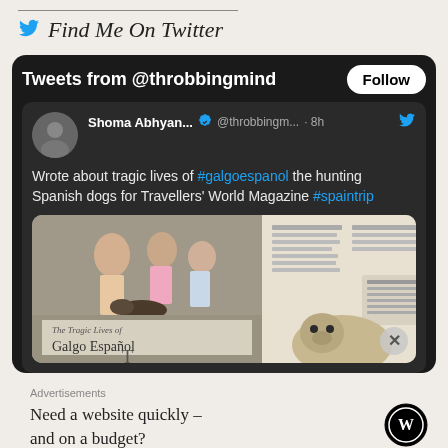Find Me On Twitter
[Figure (screenshot): Twitter widget showing tweets from @throbbingmind with a Follow button. Contains a tweet by Shoma Abhyan... @throbbingm... · 8h: 'Wrote about tragic lives of #galgoespanol the hunting Spanish dogs for Travellers' World Magazine #spaintrip' with an attached image showing a magazine spread about 'The Tragic Lives of Galgo Español'.]
Advertisements
Need a website quickly – and on a budget?